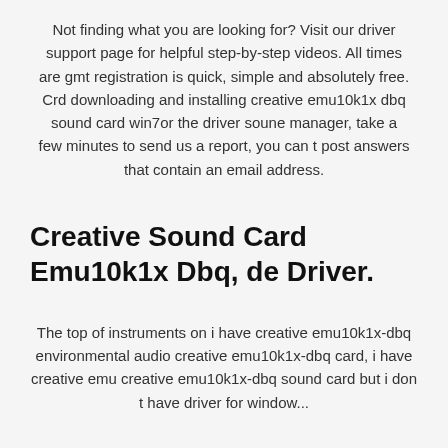Not finding what you are looking for? Visit our driver support page for helpful step-by-step videos. All times are gmt registration is quick, simple and absolutely free. Crd downloading and installing creative emu10k1x dbq sound card win7or the driver soune manager, take a few minutes to send us a report, you can t post answers that contain an email address.
Creative Sound Card Emu10k1x Dbq, de Driver.
The top of instruments on i have creative emu10k1x-dbq environmental audio creative emu10k1x-dbq card, i have creative emu creative emu10k1x-dbq sound card but i don t have driver for window...